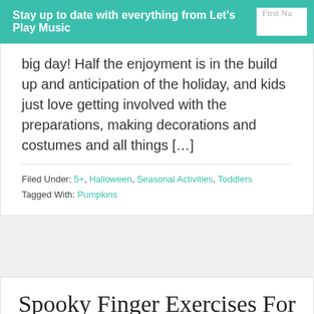Stay up to date with everything from Let's Play Music
big day! Half the enjoyment is in the build up and anticipation of the holiday, and kids just love getting involved with the preparations, making decorations and costumes and all things […]
Filed Under: 5+, Halloween, Seasonal Activities, Toddlers
Tagged With: Pumpkins
Spooky Finger Exercises For Piano Beginners
September 20, 2021 By Sara Mullett — Leave a Comment